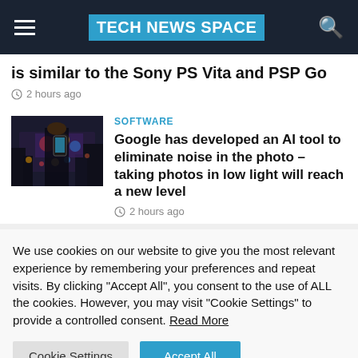TECH NEWS SPACE
is similar to the Sony PS Vita and PSP Go
2 hours ago
[Figure (photo): Person holding a phone photographing city lights at night, Times Square area]
SOFTWARE
Google has developed an AI tool to eliminate noise in the photo – taking photos in low light will reach a new level
2 hours ago
We use cookies on our website to give you the most relevant experience by remembering your preferences and repeat visits. By clicking "Accept All", you consent to the use of ALL the cookies. However, you may visit "Cookie Settings" to provide a controlled consent. Read More